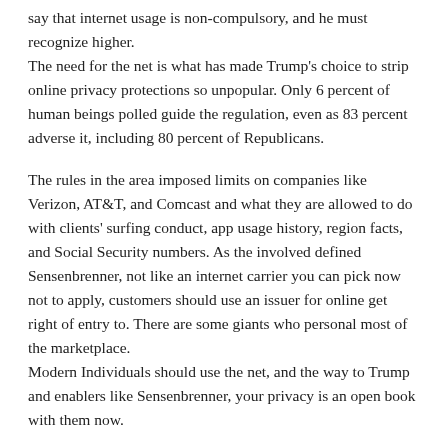say that internet usage is non-compulsory, and he must recognize higher. The need for the net is what has made Trump's choice to strip online privacy protections so unpopular. Only 6 percent of human beings polled guide the regulation, even as 83 percent adverse it, including 80 percent of Republicans.
The rules in the area imposed limits on companies like Verizon, AT&T, and Comcast and what they are allowed to do with clients' surfing conduct, app usage history, region facts, and Social Security numbers. As the involved defined Sensenbrenner, not like an internet carrier you can pick now not to apply, customers should use an issuer for online get right of entry to. There are some giants who personal most of the marketplace. Modern Individuals should use the net, and the way to Trump and enablers like Sensenbrenner, your privacy is an open book with them now.